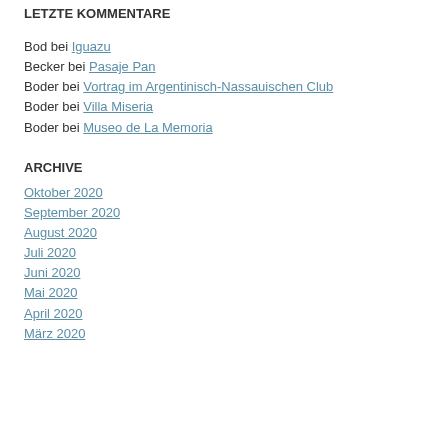LETZTE KOMMENTARE
Bod bei Iguazu
Becker bei Pasaje Pan
Boder bei Vortrag im Argentinisch-Nassauischen Club
Boder bei Villa Miseria
Boder bei Museo de La Memoria
ARCHIVE
Oktober 2020
September 2020
August 2020
Juli 2020
Juni 2020
Mai 2020
April 2020
März 2020